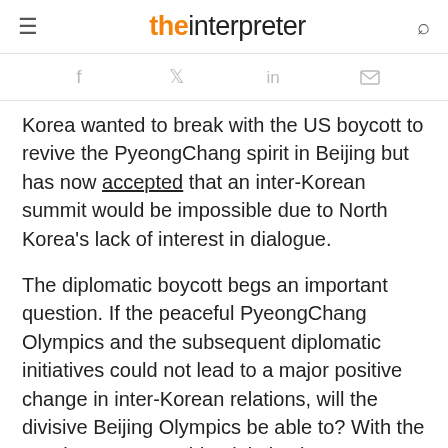the interpreter
[Figure (other): Social share icons: Facebook, Twitter, LinkedIn, Email]
Korea wanted to break with the US boycott to revive the PyeongChang spirit in Beijing but has now accepted that an inter-Korean summit would be impossible due to North Korea's lack of interest in dialogue.
The diplomatic boycott begs an important question. If the peaceful PyeongChang Olympics and the subsequent diplomatic initiatives could not lead to a major positive change in inter-Korean relations, will the divisive Beijing Olympics be able to? With the South Korean presidential election two months away and the Biden